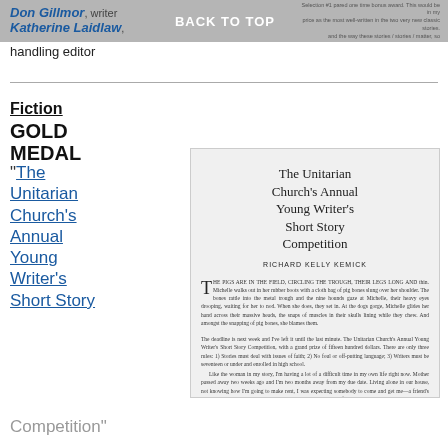Don Gillmor, writer Katherine Laidlaw, BACK TO TOP handling editor
handling editor
Fiction
GOLD MEDAL
"The Unitarian Church's Annual Young Writer's Short Story Competition"
[Figure (illustration): Scanned magazine page spread showing article titled 'The Unitarian Church's Annual Young Writer's Short Story Competition' by Richard Kelly Kemick, with drop-cap paragraph text and a second paragraph, ending with Spring 2016 | THE NEW QUARTERLY 75]
Competition"